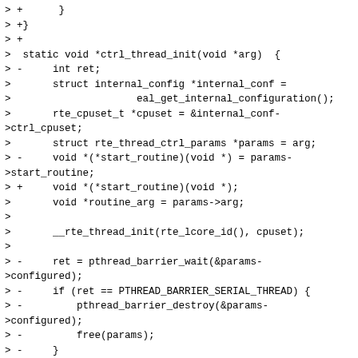> +      }
> +}
> +
>  static void *ctrl_thread_init(void *arg)  {
> -     int ret;
>       struct internal_config *internal_conf =
>                     eal_get_internal_configuration();
>       rte_cpuset_t *cpuset = &internal_conf->ctrl_cpuset;
>       struct rte_thread_ctrl_params *params = arg;
> -     void *(*start_routine)(void *) = params->start_routine;
> +     void *(*start_routine)(void *);
>       void *routine_arg = params->arg;
> 
>       __rte_thread_init(rte_lcore_id(), cpuset);
> 
> -     ret = pthread_barrier_wait(&params->configured);
> -     if (ret == PTHREAD_BARRIER_SERIAL_THREAD) {
> -         pthread_barrier_destroy(&params->configured);
> -         free(params);
> -     }
> +     pthread_barrier_wait(&params->configured);
> +     start_routine = params->start_routine;
> +     ctrl_params_free(params);
> +
> +     if (start_routine == NULL)
> +         return NULL;